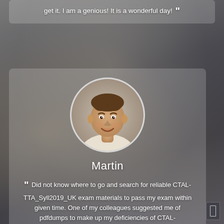get it. I am a genious! It is a wonderful day!
[Figure (photo): Circular portrait photo of a smiling young man named Martin]
Martin
“ Did not know where to go and search for reliable CTAL-TTA_Syll2019_UK exam materials to pass my exam within given time. One of my colleagues suggested me of pdfdumps to make up my deficiencies of CTAL-TTA_Syll2019_UK exam preparations. ”